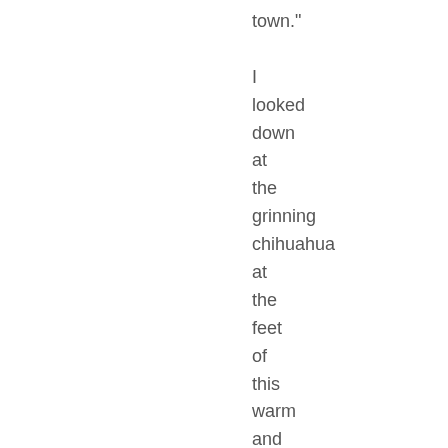town." I looked down at the grinning chihuahua at the feet of this warm and vivacious woman. If a hottie like this can't